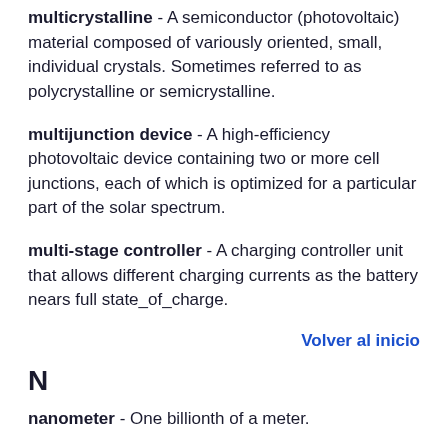multicrystalline - A semiconductor (photovoltaic) material composed of variously oriented, small, individual crystals. Sometimes referred to as polycrystalline or semicrystalline.
multijunction device - A high-efficiency photovoltaic device containing two or more cell junctions, each of which is optimized for a particular part of the solar spectrum.
multi-stage controller - A charging controller unit that allows different charging currents as the battery nears full state_of_charge.
Volver al inicio
N
nanometer - One billionth of a meter.
National Electrical Code (NEC) - Contains guidelines for all types of electrical installations. The 1984 and...